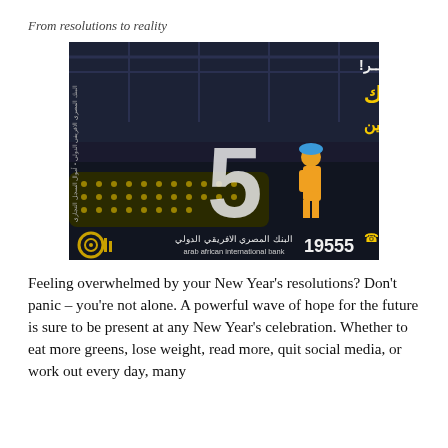From resolutions to reality
[Figure (illustration): Arab African International Bank advertisement in Arabic. Dark industrial background showing a factory/warehouse interior with conveyor belt. Large yellow Arabic text reads 'مشروعك صغير!' (Your project is small!) and 'احنا معاك' (We are with you) and 'حتي 5 مليون / 5 سنين' (Up to 5 million / 5 years). Large number '5' in center. Bank logo and name 'arab african international bank' with hotline number 19555 at the bottom.]
Feeling overwhelmed by your New Year's resolutions? Don't panic – you're not alone. A powerful wave of hope for the future is sure to be present at any New Year's celebration. Whether to eat more greens, lose weight, read more, quit social media, or work out every day, many